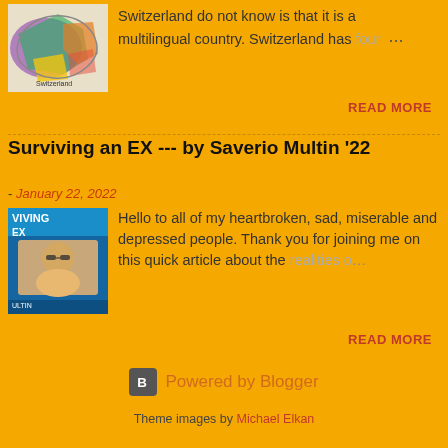[Figure (illustration): Colorful map of Switzerland showing linguistic regions in different colors (green, purple, orange, yellow)]
Switzerland do not know is that it is a multilingual country. Switzerland has four …
READ MORE
Surviving an EX --- by Saverio Multin '22
- January 22, 2022
[Figure (photo): Book cover for 'Surviving an EX' by Multin, blue cover with photo of young man with sunglasses]
Hello to all of my heartbroken, sad, miserable and depressed people. Thank you for joining me on this quick article about the realities o…
READ MORE
Powered by Blogger
Theme images by Michael Elkan